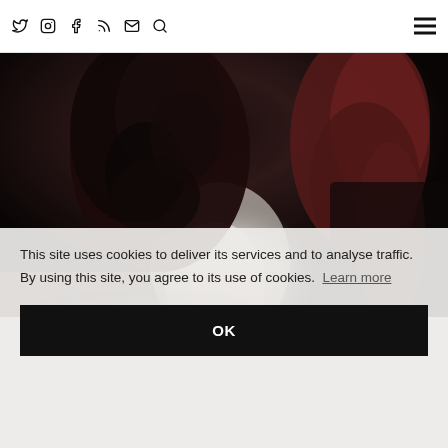Twitter Instagram Facebook RSS Email Search [hamburger menu]
[Figure (photo): Woman with curly dark hair wearing a white blouse, photographed from behind/side, working at a desk or laptop in a dark/moody setting]
This site uses cookies to deliver its services and to analyse traffic. By using this site, you agree to its use of cookies. Learn more
OK